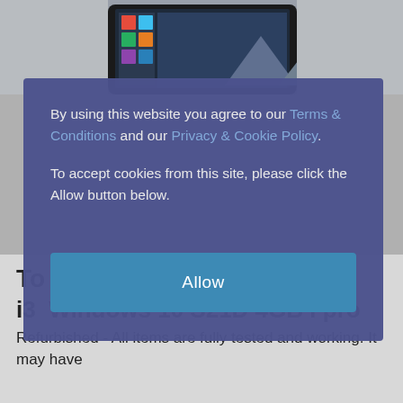[Figure (screenshot): Top portion of a webpage showing a device/laptop with Windows interface, partially obscured by the cookie consent overlay]
By using this website you agree to our Terms & Conditions and our Privacy & Cookie Policy. To accept cookies from this site, please click the Allow button below.
Allow
To i3 Windows 10 S21D 4GB i pro
Refurbished - All items are fully tested and working. It may have